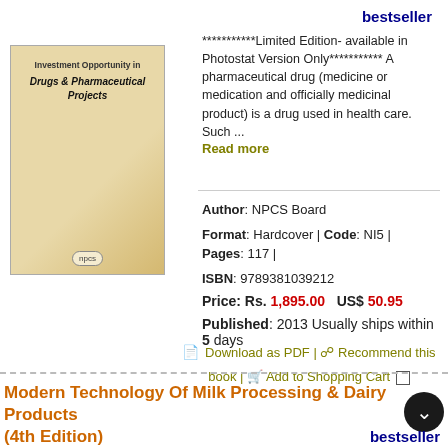bestseller
***********Limited Edition- available in Photostat Version Only*********** A pharmaceutical drug (medicine or medication and officially medicinal product) is a drug used in health care. Such ...
Read more
[Figure (illustration): Book cover for Investment Opportunity in Drugs & Pharmaceutical Projects]
Author: NPCS Board
Format: Hardcover | Code: NI5 | Pages: 117 |
ISBN: 9789381039212
Price: Rs. 1,895.00   US$ 50.95
Published: 2013 Usually ships within 5 days
Download as PDF |   Recommend this book | Add to Shopping Cart
Modern Technology Of Milk Processing & Dairy Products (4th Edition)
bestseller